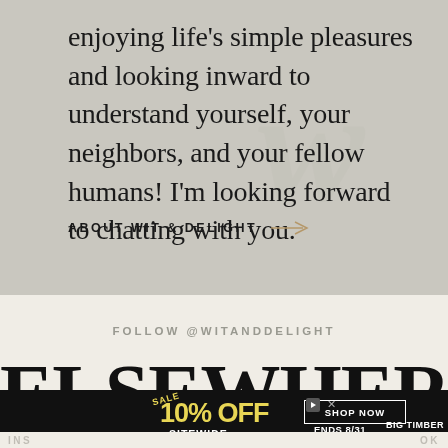enjoying life's simple pleasures and looking inward to understand yourself, your neighbors, and your fellow humans! I'm looking forward to chatting with you.
ABOUT WIT & DELIGHT →
FOLLOW @WITANDDELIGHT
ELSEWHERE
[Figure (other): Advertisement banner: SALE 10% OFF SITEWIDE, SHOP NOW, ENDS 8/31, BIG TIMBER]
INS ... OK